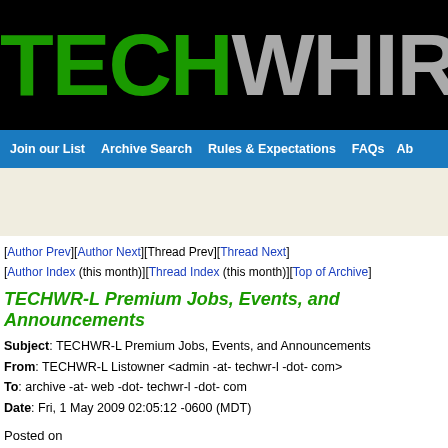[Figure (logo): TECHWHIRL Archives logo banner with green TECH text, grey WHIRL text, globe icon, and white Arc text on black background]
Join our List   Archive Search   Rules & Expectations   FAQs   Ab
[Author Prev][Author Next][Thread Prev][Thread Next]
[Author Index (this month)][Thread Index (this month)][Top of Archive]
TECHWR-L Premium Jobs, Events, and Announcements
Subject: TECHWR-L Premium Jobs, Events, and Announcements
From: TECHWR-L Listowner <admin -at- techwr-l -dot- com>
To: archive -at- web -dot- techwr-l -dot- com
Date: Fri, 1 May 2009 02:05:12 -0600 (MDT)
Posted on
Friday, May 01, 2009